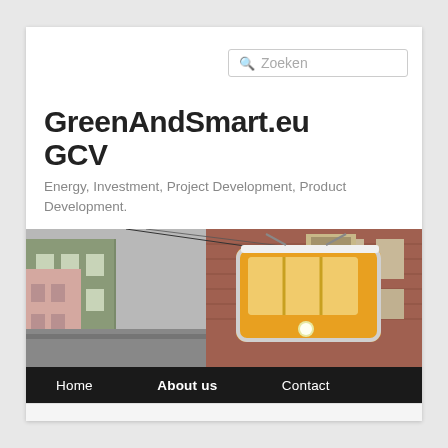Zoeken
GreenAndSmart.eu GCV
Energy, Investment, Project Development, Product Development.
[Figure (photo): Street scene with a yellow tram/cable car in a narrow European city street, surrounded by brick and stone buildings.]
Home   About us   Contact